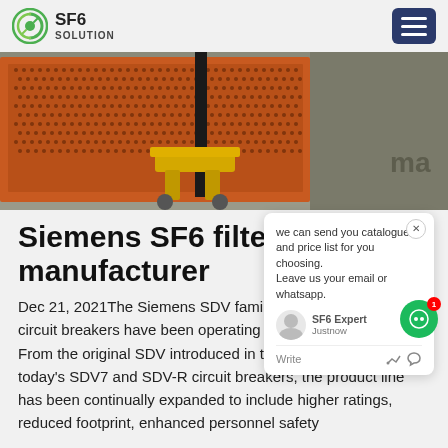SF6 SOLUTION
[Figure (photo): Industrial equipment photo showing an orange metal cage/container with perforated sides and a yellow pallet jack/forklift on a concrete floor with yellow line markings]
Siemens SF6 filter manufacturer
Dec 21, 2021The Siemens SDV family of outdoor distribution circuit breakers have been operating reliably for decades. From the original SDV introduced in the early 1980s to today's SDV7 and SDV-R circuit breakers, the product line has been continually expanded to include higher ratings, reduced footprint, enhanced personnel safety